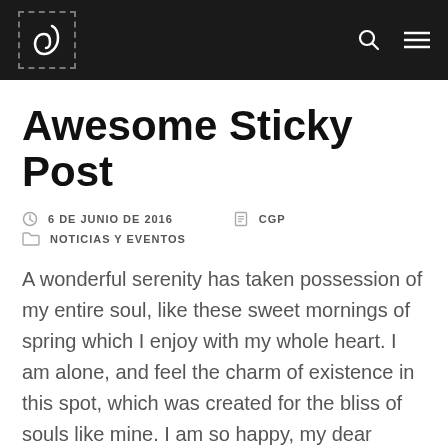CGP blog header with logo, search icon, and menu icon
Awesome Sticky Post
6 DE JUNIO DE 2016   CGP
NOTICIAS Y EVENTOS
A wonderful serenity has taken possession of my entire soul, like these sweet mornings of spring which I enjoy with my whole heart. I am alone, and feel the charm of existence in this spot, which was created for the bliss of souls like mine. I am so happy, my dear friend, so absorbed in...